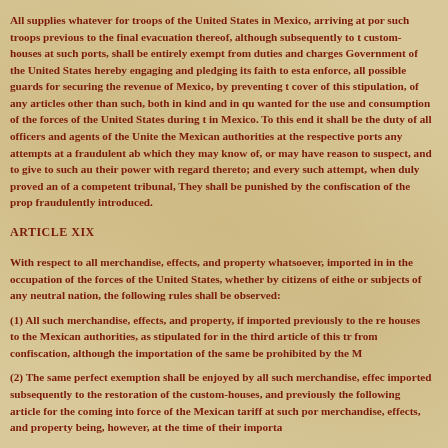All supplies whatever for troops of the United States in Mexico, arriving at por such troops previous to the final evacuation thereof, although subsequently to t custom-houses at such ports, shall be entirely exempt from duties and charges Government of the United States hereby engaging and pledging its faith to esta enforce, all possible guards for securing the revenue of Mexico, by preventing t cover of this stipulation, of any articles other than such, both in kind and in qu wanted for the use and consumption of the forces of the United States during t in Mexico. To this end it shall be the duty of all officers and agents of the Unite the Mexican authorities at the respective ports any attempts at a fraudulent ab which they may know of, or may have reason to suspect, and to give to such au their power with regard thereto; and every such attempt, when duly proved an of a competent tribunal, They shall be punished by the confiscation of the prop fraudulently introduced.
ARTICLE XIX
With respect to all merchandise, effects, and property whatsoever, imported in in the occupation of the forces of the United States, whether by citizens of eithe or subjects of any neutral nation, the following rules shall be observed:
(1) All such merchandise, effects, and property, if imported previously to the re houses to the Mexican authorities, as stipulated for in the third article of this tr from confiscation, although the importation of the same be prohibited by the M
(2) The same perfect exemption shall be enjoyed by all such merchandise, effec imported subsequently to the restoration of the custom-houses, and previously the following article for the coming into force of the Mexican tariff at such por merchandise, effects, and property being, however, at the time of their importa